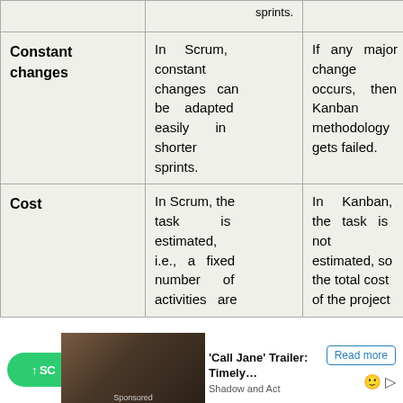|  | Scrum | Kanban |
| --- | --- | --- |
|  | sprints. |  |
| Constant changes | In Scrum, constant changes can be adapted easily in shorter sprints. | If any major change occurs, then Kanban methodology gets failed. |
| Cost | In Scrum, the task is estimated, i.e., a fixed number of activities are | In Kanban, the task is not estimated, so the total cost of the project |